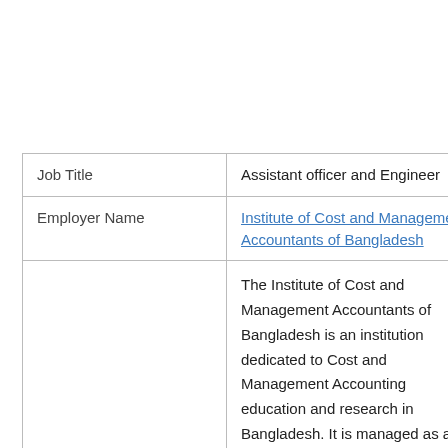|  |  |
| --- | --- |
| Job Title | Assistant officer and Engineer |
| Employer Name | Institute of Cost and Management Accountants of Bangladesh |
|  | The Institute of Cost and Management Accountants of Bangladesh is an institution dedicated to Cost and Management Accounting education and research in Bangladesh. It is managed as an autonomous professional body |